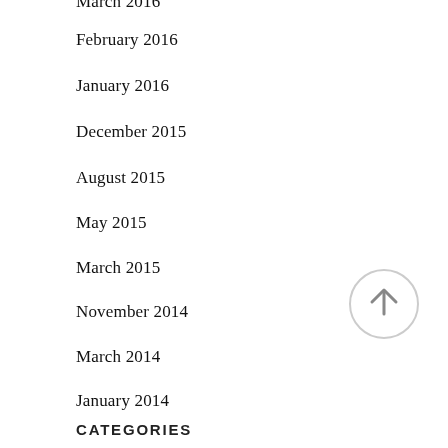March 2016
February 2016
January 2016
December 2015
August 2015
May 2015
March 2015
November 2014
March 2014
January 2014
CATEGORIES